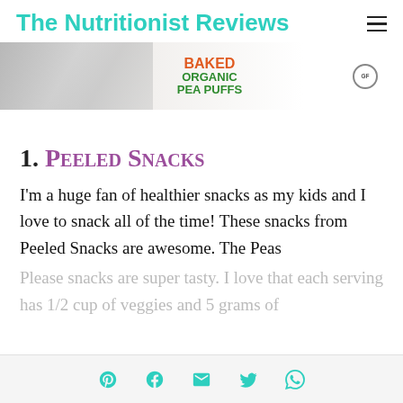The Nutritionist Reviews
[Figure (photo): Partial view of a Baked Organic Pea Puffs snack bag on a marble surface with a GF badge visible]
1. Peeled Snacks
I'm a huge fan of healthier snacks as my kids and I love to snack all of the time! These snacks from Peeled Snacks are awesome. The Peas
Please snacks are super tasty. I love that each serving has 1/2 cup of veggies and 5 grams of
Social share icons: Pinterest, Facebook, Email, Twitter, WhatsApp